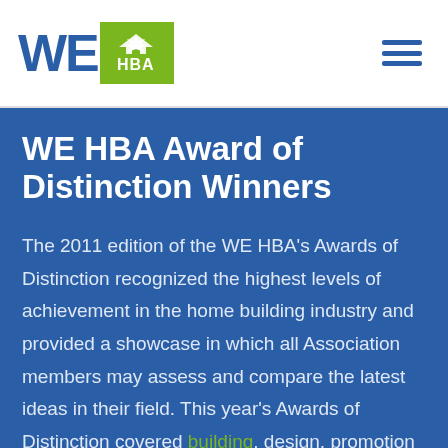[Figure (logo): WE HBA logo with blue WE text and green HBA box with house icon]
WE HBA Award of Distinction Winners
The 2011 edition of the WE HBA's Awards of Distinction recognized the highest levels of achievement in the home building industry and provided a showcase in which all Association members may assess and compare the latest ideas in their field. This year's Awards of Distinction covered building, design, promotion and marketing.